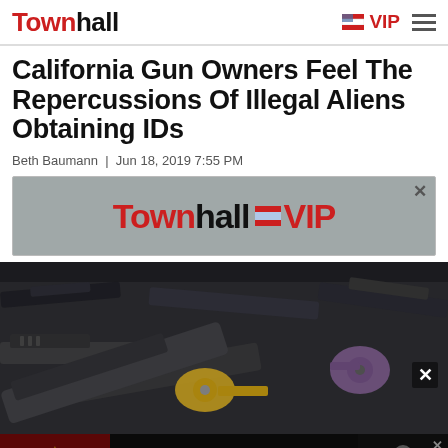Townhall | VIP
California Gun Owners Feel The Repercussions Of Illegal Aliens Obtaining IDs
Beth Baumann  |  Jun 18, 2019 7:55 PM
[Figure (screenshot): Townhall VIP advertisement banner with logo on gray background]
[Figure (photo): Multiple handguns and firearms laid out on a dark surface, including pistols in various colors including black, gold, and purple]
[Figure (infographic): Advertisement: 'Help us expose the threat of Communist China' with Chinese flag imagery and a photo of a figure in a suit on dark background]